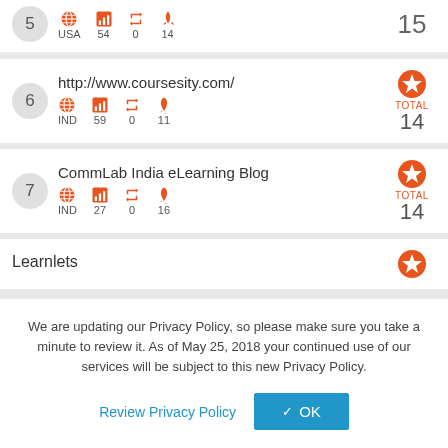5 USA 54 0 14 TOTAL 15
6 http://www.coursesity.com/ IND 59 0 11 TOTAL 14
7 CommLab India eLearning Blog IND 27 0 16 TOTAL 14
Learnlets
We are updating our Privacy Policy, so please make sure you take a minute to review it. As of May 25, 2018 your continued use of our services will be subject to this new Privacy Policy.
Review Privacy Policy  ✓ OK